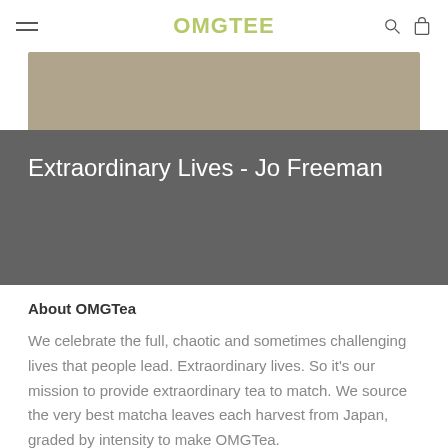OMGTea navigation bar with hamburger menu, logo, search and cart icons
[Figure (photo): Tan/beige hero image placeholder rectangle]
Extraordinary Lives - Jo Freeman
About OMGTea
We celebrate the full, chaotic and sometimes challenging lives that people lead. Extraordinary lives. So it's our mission to provide extraordinary tea to match. We source the very best matcha leaves each harvest from Japan, graded by intensity to make OMGTea.